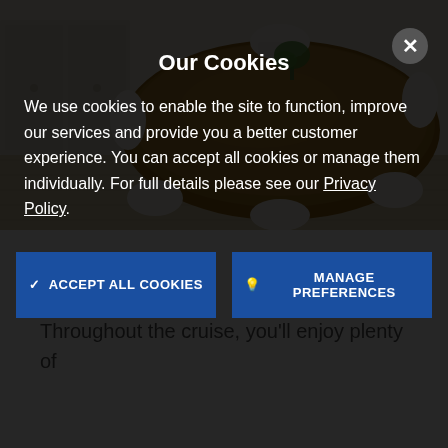[Figure (photo): A modern dining room with a large round wooden table and white chairs, light wood flooring and white cabinetry in the background.]
Dining
Throughout the cruise, you'll enjoy plenty of
Our Cookies
We use cookies to enable the site to function, improve our services and provide you a better customer experience. You can accept all cookies or manage them individually. For full details please see our Privacy Policy.
✓ ACCEPT ALL COOKIES
MANAGE PREFERENCES